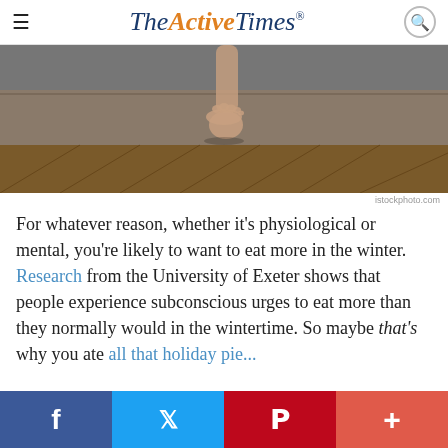TheActiveTimes®
[Figure (photo): Close-up photo of bare feet on a stone step with wooden parquet floor below, dark and moody lighting]
istockphoto.com
For whatever reason, whether it's physiological or mental, you're likely to want to eat more in the winter. Research from the University of Exeter shows that people experience subconscious urges to eat more than they normally would in the wintertime. So maybe that's why you ate all that holiday pie...
Facebook Twitter Pinterest +